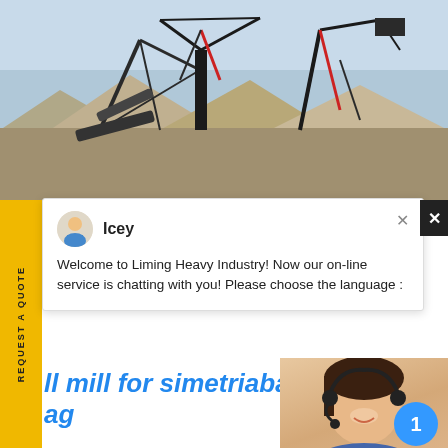[Figure (photo): Industrial mining/crushing machinery with multiple conveyor systems and cranes against a sky background, with gravel/ore piles visible]
[Figure (screenshot): Live chat popup from Liming Heavy Industry showing agent 'Icey' with welcome message asking user to choose language]
ll mill for simetriaba ag
mill for simetriaball mill for slag. ba graindingwiersmaenzoon . 300 tpd sla specifiionMineral 2015-09-25· Xinxiang Machinery Co LtdCement Mill Cement Roller Mill Turnkey Cement Plant high
[Figure (photo): Customer service agent (woman with headset) photo with blue circle badge showing '1' and 'Have any requests, click here.' panel with Quotation button]